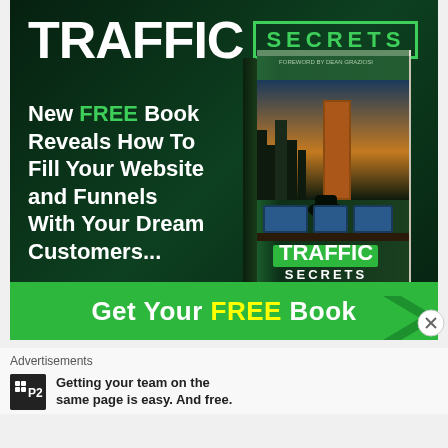[Figure (illustration): Advertisement banner for 'Traffic Secrets' book by Russell Brunson. Dark green background. Top shows 'TRAFFIC SECRETS' title in large white bold font with SECRETS in a green border box. Left side shows text: 'New FREE Book Reveals How To Fill Your Website and Funnels With Your Dream Customers...' with FREE in green. Right side shows a 3D book cover image for Traffic Secrets by Russell Brunson. Bottom has a green CTA bar saying 'Get Your FREE Book' with yellow FREE and two right-pointing chevrons.]
Advertisements
[Figure (logo): P2 logo - black square with white text showing a grid icon and 'P2']
Getting your team on the same page is easy. And free.